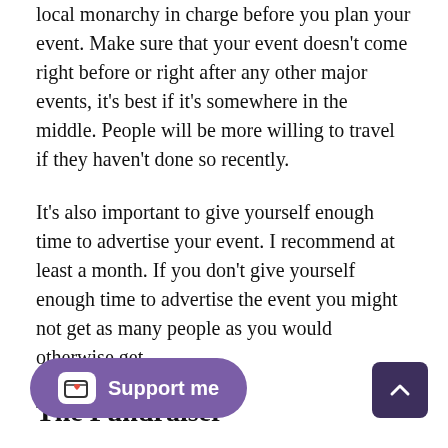local monarchy in charge before you plan your event. Make sure that your event doesn't come right before or right after any other major events, it's best if it's somewhere in the middle. People will be more willing to travel if they haven't done so recently.
It's also important to give yourself enough time to advertise your event. I recommend at least a month. If you don't give yourself enough time to advertise the event you might not get as many people as you would otherwise get.
The Fundraiser
Now that you have figured out what you are raising money for and when, you need to decide how you'll be doing it. You have a lot of options, pie in the face, penny drives, selling food, auctioning off items, raffles or any other activity keep it simple. No matter wh method you choose most will fall within two basic types,